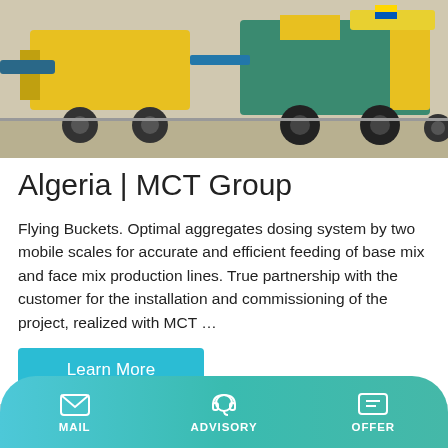[Figure (photo): Yellow and teal industrial machinery / concrete mixing truck on outdoor ground]
Algeria | MCT Group
Flying Buckets. Optimal aggregates dosing system by two mobile scales for accurate and efficient feeding of base mix and face mix production lines. True partnership with the customer for the installation and commissioning of the project, realized with MCT …
Learn More
[Figure (photo): Industrial equipment with cables/hoses on a white architectural background]
MAIL   ADVISORY   OFFER